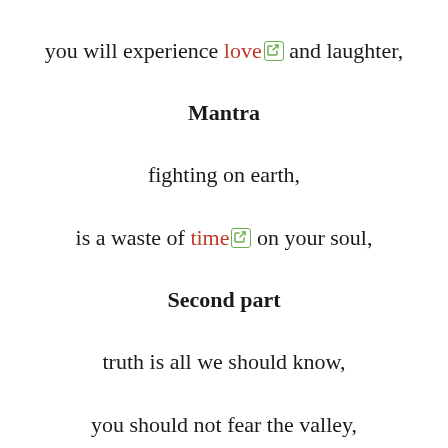you will experience love and laughter,
Mantra
fighting on earth,
is a waste of time on your soul,
Second part
truth is all we should know,
you should not fear the valley,
row your boat you will only get stronger,